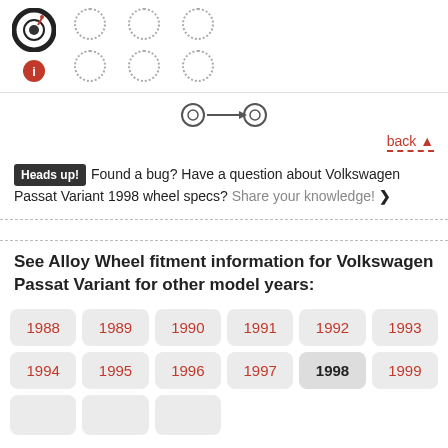[Figure (infographic): Tire icon with speedometer/gauge, info button, and dot-circle grid representing wheel fitment selector UI]
[Figure (infographic): Arrow icon showing left-right comparison between two wheel icons]
back ▲
Heads up! Found a bug? Have a question about Volkswagen Passat Variant 1998 wheel specs? Share your knowledge! ❯
See Alloy Wheel fitment information for Volkswagen Passat Variant for other model years:
1988
1989
1990
1991
1992
1993
1994
1995
1996
1997
1998
1999